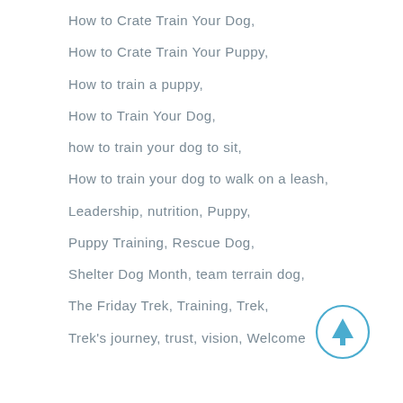How to Crate Train Your Dog,
How to Crate Train Your Puppy,
How to train a puppy,
How to Train Your Dog,
how to train your dog to sit,
How to train your dog to walk on a leash,
Leadership, nutrition, Puppy,
Puppy Training, Rescue Dog,
Shelter Dog Month, team terrain dog,
The Friday Trek, Training, Trek,
Trek's journey, trust, vision, Welcome
[Figure (other): A circular up-arrow button with a blue outline and blue upward arrow icon]